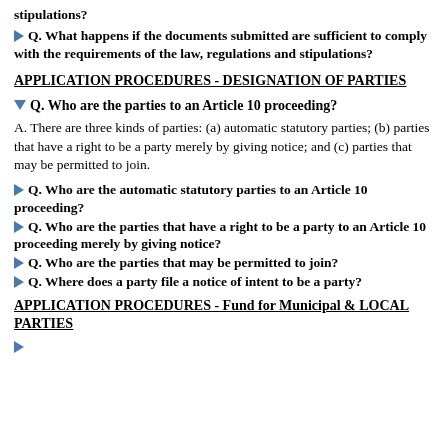Q. What happens if the documents submitted are sufficient to comply with the requirements of the law, regulations and stipulations?
Q. What happens if the documents submitted are sufficient to comply with the requirements of the law, regulations and stipulations?
APPLICATION PROCEDURES - DESIGNATION OF PARTIES
Q. Who are the parties to an Article 10 proceeding?
A. There are three kinds of parties: (a) automatic statutory parties; (b) parties that have a right to be a party merely by giving notice; and (c) parties that may be permitted to join.
Q. Who are the automatic statutory parties to an Article 10 proceeding?
Q. Who are the parties that have a right to be a party to an Article 10 proceeding merely by giving notice?
Q. Who are the parties that may be permitted to join?
Q. Where does a party file a notice of intent to be a party?
APPLICATION PROCEDURES - Fund for Municipal & LOCAL PARTIES